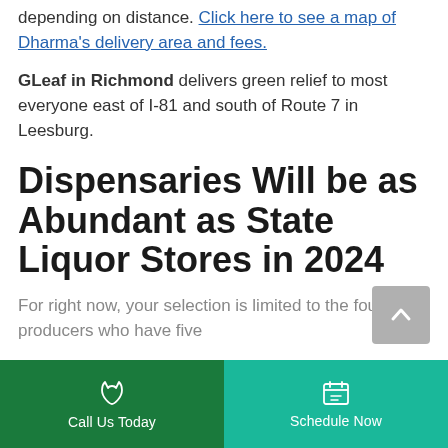depending on distance. Click here to see a map of Dharma's delivery area and fees.
GLeaf in Richmond delivers green relief to most everyone east of I-81 and south of Route 7 in Leesburg.
Dispensaries Will be as Abundant as State Liquor Stores in 2024
For right now, your selection is limited to the four producers who have five
Call Us Today | Schedule Now